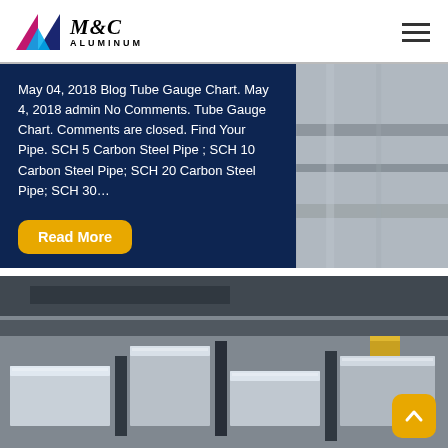M&C ALUMINUM
May 04, 2018 Blog Tube Gauge Chart. May 4, 2018 admin No Comments. Tube Gauge Chart. Comments are closed. Find Your Pipe. SCH 5 Carbon Steel Pipe ; SCH 10 Carbon Steel Pipe; SCH 20 Carbon Steel Pipe; SCH 30…
Read More
[Figure (photo): Photograph of aluminum/steel flat blocks and bars arranged on a surface, showing metallic surfaces with reflective finish]